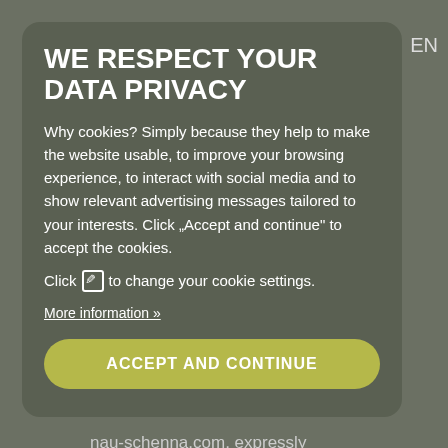MENU   EN
Register of Companies of Bolzano/Bozen N.: 01433200217
WE RESPECT YOUR DATA PRIVACY
Why cookies? Simply because they help to make the website usable, to improve your browsing experience, to interact with social media and to show relevant advertising messages tailored to your interests. Click „Accept and continue“ to accept the cookies.
Click [edit icon] to change your cookie settings.
More information »
ACCEPT AND CONTINUE
Family Pircher, which commissioned the
nau-schenna.com, expressly declares that at the time the links were
Links
created, contained no illegal content. Family Pircher has no influence of
any kind on the current and future form of